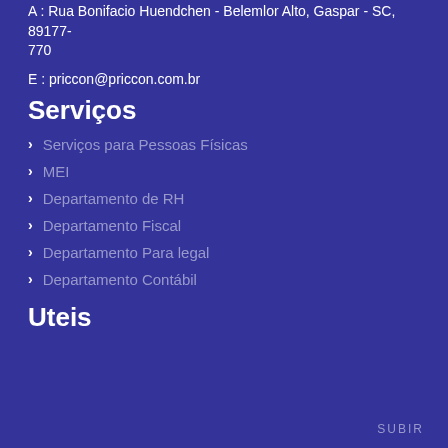A : Rua Bonifacio Huendchen - Belemlor Alto, Gaspar - SC, 89177-770
E : priccon@priccon.com.br
Serviços
Serviços para Pessoas Físicas
MEI
Departamento de RH
Departamento Fiscal
Departamento Para legal
Departamento Contábil
Uteis
SUBIR